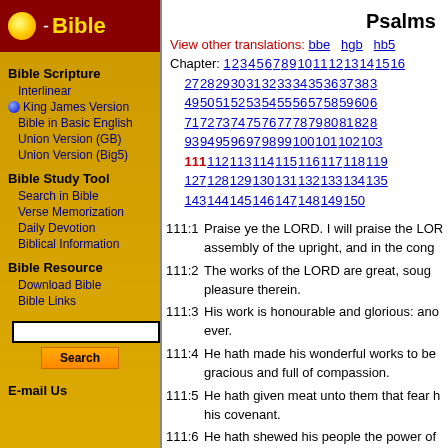Bible
Psalms
View other translations: bbe   hgb   hb5
Chapter: 1 2 3 4 5 6 7 8 9 10 11 12 13 14 15 16... 27 28 29 30 31 32 33 34 35 36 37 38 3... 49 50 51 52 53 54 55 56 57 58 59 60 6... 71 72 73 74 75 76 77 78 79 80 81 82 8... 93 94 95 96 97 98 99 100 101 102 103... 111 112 113 114 115 116 117 118 119... 127 128 129 130 131 132 133 134 135... 143 144 145 146 147 148 149 150
Bible Scripture
Interlinear
King James Version
Bible in Basic English
Union Version (GB)
Union Version (Big5)
Bible Study Tool
Search in Bible
Verse Memorization
Daily Devotion
Biblical Information
Bible Resource
Download Bible
Bible Links
111:1 Praise ye the LORD. I will praise the LORD...assembly of the upright, and in the cong...
111:2 The works of the LORD are great, sought...pleasure therein.
111:3 His work is honourable and glorious: and...ever.
111:4 He hath made his wonderful works to be...gracious and full of compassion.
111:5 He hath given meat unto them that fear h...his covenant.
111:6 He hath shewed his people the power of...them the heritage of the heathen.
111:7 The works of his hands are verity and jud...are sure.
111:8 They stand fast for ever and ever, and a...
E-mail Us